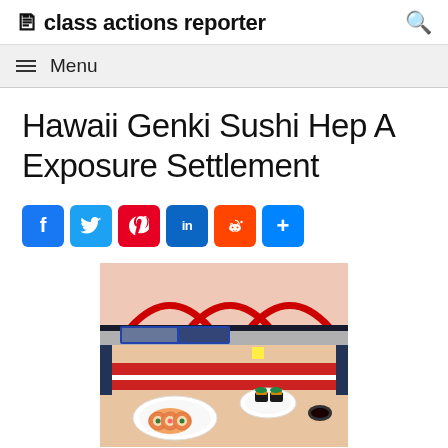class actions reporter
Menu
Hawaii Genki Sushi Hep A Exposure Settlement
[Figure (other): Social sharing buttons: Facebook, Twitter, Pinterest, LinkedIn, Reddit, Share]
[Figure (photo): Interior of a Genki Sushi restaurant showing a conveyor belt with sushi plates, including rolls and nigiri on red and white plates, with decorative red arches above the belt.]